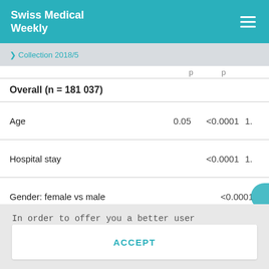Swiss Medical Weekly
❯ Collection 2018/5
| Variable | Coefficient | p-value |  |
| --- | --- | --- | --- |
| Overall (n = 181 037) |  |  |  |
| Age | 0.05 | <0.0001 | 1. |
| Hospital stay |  | <0.0001 | 1. |
| Gender: female vs male |  | <0.0001 |  |
In order to offer you a better user experience, we use cookies. Additional information can be found here..
ACCEPT